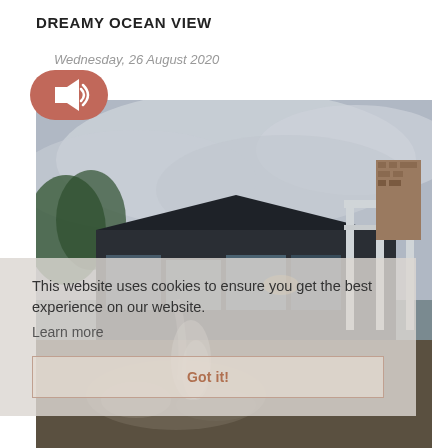DREAMY OCEAN VIEW
Wednesday, 26 August 2020
[Figure (photo): Exterior photo of a modern house with dark wood siding, white-framed glass doors, a brick chimney, and a cloudy sky. In the foreground there is a fire pit with rocks and smoke.]
This website uses cookies to ensure you get the best experience on our website. Learn more
Got it!